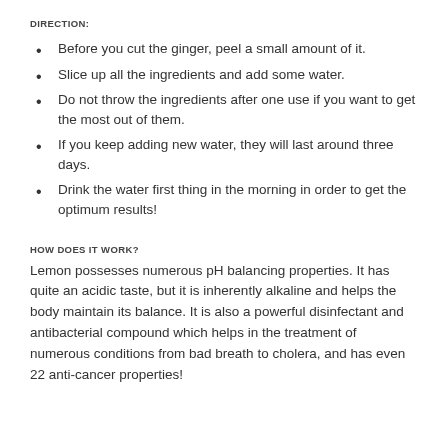DIRECTION:
Before you cut the ginger, peel a small amount of it.
Slice up all the ingredients and add some water.
Do not throw the ingredients after one use if you want to get the most out of them.
If you keep adding new water, they will last around three days.
Drink the water first thing in the morning in order to get the optimum results!
HOW DOES IT WORK?
Lemon possesses numerous pH balancing properties. It has quite an acidic taste, but it is inherently alkaline and helps the body maintain its balance. It is also a powerful disinfectant and antibacterial compound which helps in the treatment of numerous conditions from bad breath to cholera, and has even 22 anti-cancer properties!